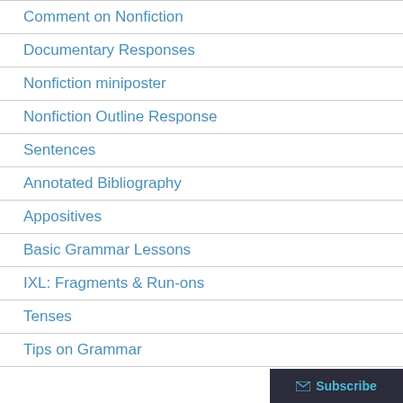Comment on Nonfiction
Documentary Responses
Nonfiction miniposter
Nonfiction Outline Response
Sentences
Annotated Bibliography
Appositives
Basic Grammar Lessons
IXL: Fragments & Run-ons
Tenses
Tips on Grammar